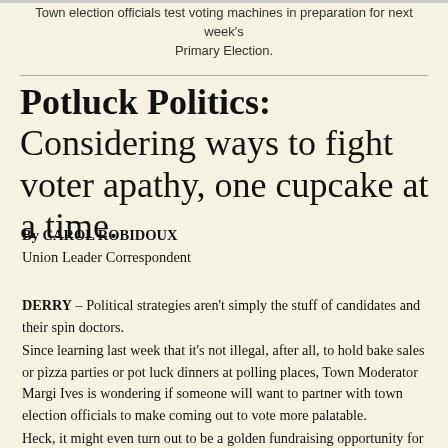Town election officials test voting machines in preparation for next week's Primary Election.
Potluck Politics: Considering ways to fight voter apathy, one cupcake at a time.
By CAROL ROBIDOUX
Union Leader Correspondent
DERRY – Political strategies aren't simply the stuff of candidates and their spin doctors.
Since learning last week that it's not illegal, after all, to hold bake sales or pizza parties or pot luck dinners at polling places, Town Moderator Margi Ives is wondering if someone will want to partner with town election officials to make coming out to vote more palatable.
Heck, it might even turn out to be a golden fundraising opportunity for a local PTA or community group.
It all begins and ends with boosting voter turnout – which has become a concern for towns and municipalities everywhere. In Derry, numbers have been dismal. For example, of the 21,390 registered voters in town, only 1,846 came out to vote in the